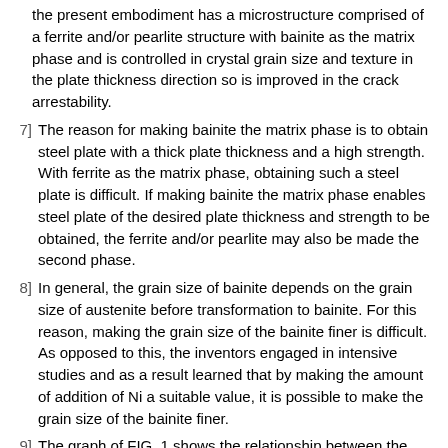the present embodiment has a microstructure comprised of a ferrite and/or pearlite structure with bainite as the matrix phase and is controlled in crystal grain size and texture in the plate thickness direction so is improved in the crack arrestability.
7] The reason for making bainite the matrix phase is to obtain steel plate with a thick plate thickness and a high strength. With ferrite as the matrix phase, obtaining such a steel plate is difficult. If making bainite the matrix phase enables steel plate of the desired plate thickness and strength to be obtained, the ferrite and/or pearlite may also be made the second phase.
8] In general, the grain size of bainite depends on the grain size of austenite before transformation to bainite. For this reason, making the grain size of the bainite finer is difficult. As opposed to this, the inventors engaged in intensive studies and as a result learned that by making the amount of addition of Ni a suitable value, it is possible to make the grain size of the bainite finer.
9] The graph of FIG. 1 shows the relationship between the amount of addition of Ni and the average circle equivalent diameter of the crystal grains having a crystal misorientation angle of 15° or more in a bainite structure